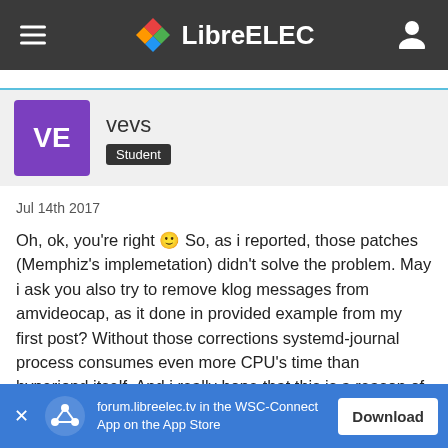LibreELEC
vevs
Student
Jul 14th 2017
Oh, ok, you're right 🙂 So, as i reported, those patches (Memphiz's implemetation) didn't solve the problem. May i ask you also try to remove klog messages from amvideocap, as it done in provided example from my first post? Without those corrections systemd-journal process consumes even more CPU's time than hyperiond itself. And i really hope that this is a reason of playback issues, bacause i don't have any other clue...
forum.libreelec.tv in the WSC-Connect App on the App Store  Download